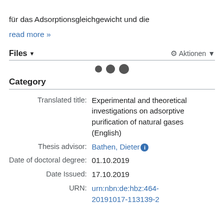für das Adsorptionsgleichgewicht und die
read more »
Files ▼   ⚙ Aktionen ▼
[Figure (other): Three loading dots of increasing size]
Category
| Label | Value |
| --- | --- |
| Translated title: | Experimental and theoretical investigations on adsorptive purification of natural gases (English) |
| Thesis advisor: | Bathen, Dieter ℹ |
| Date of doctoral degree: | 01.10.2019 |
| Date Issued: | 17.10.2019 |
| URN: | urn:nbn:de:hbz:464-20191017-113139-2 |